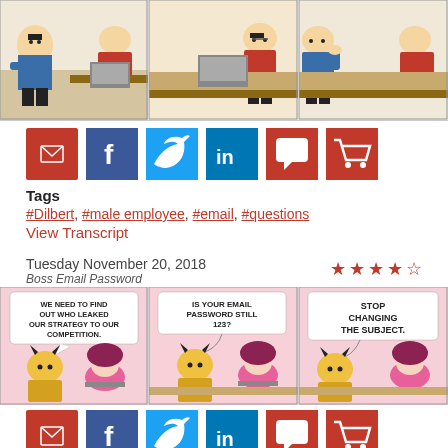[Figure (illustration): Dilbert comic strip - three panels showing Dilbert and male employee at desk]
Social sharing buttons: email, Facebook, Twitter, LinkedIn, comment, cart
Tags
#Dilbert, #male employee, #email, #questions
View Transcript
Tuesday November 20, 2018 - Boss Email Password - 4.5 stars
[Figure (illustration): Dilbert comic strip - Boss Email Password: three panels. Panel 1: We need to find out who leaked our strategy to our competition. Panel 2: Is your email password still 123? Panel 3: Stop changing the subject.]
Social sharing buttons: email, Facebook, Twitter, LinkedIn, comment, cart